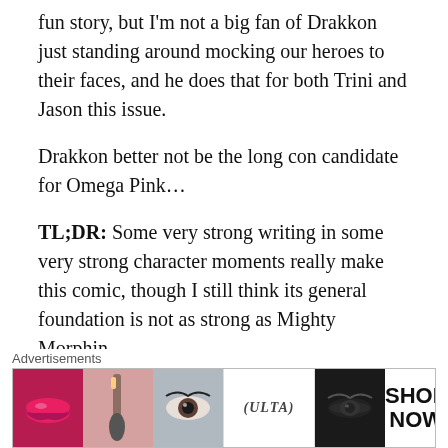fun story, but I'm not a big fan of Drakkon just standing around mocking our heroes to their faces, and he does that for both Trini and Jason this issue.
Drakkon better not be the long con candidate for Omega Pink…
TL;DR: Some very strong writing in some very strong character moments really make this comic, though I still think its general foundation is not as strong as Mighty Morphin.
Superman and The Authority #1
[Figure (illustration): Comic book cover for Superman and The Authority #1, showing the DC logo, Superman text in red, and The Authority text in white on a dark background with a figure in green.]
[Figure (illustration): Advertisement banner for Ulta Beauty showing makeup/cosmetics imagery with lips, brush, eyes, and Ulta logo with SHOP NOW text.]